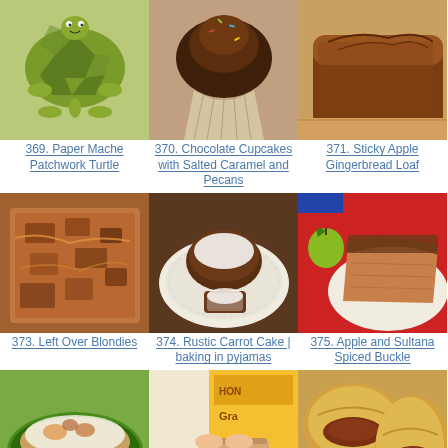[Figure (photo): Paper mache patchwork turtle craft toy, green and grey]
369. Paper Mache Patchwork Turtle
[Figure (photo): Chocolate cupcakes with salted caramel and pecans on top]
370. Chocolate Cupcakes with Salted Caramel and Pecans
[Figure (photo): Sticky apple gingerbread loaf on wooden board]
371. Sticky Apple Gingerbread Loaf
[Figure (photo): Left over blondies closeup, caramel chocolate bars]
373. Left Over Blondies
[Figure (photo): Rustic carrot cake slice with powdered sugar on white plate]
374. Rustic Carrot Cake | baking in pyjamas
[Figure (photo): Apple and sultana spiced buckle slice on plate with green apple]
375. Apple and Sultana Spiced Buckle
[Figure (photo): Baked zucchini boat with toppings in green dish]
[Figure (photo): Hand holding a biscuit with honey cracker packaging visible]
[Figure (photo): Baked bread rolls with meat filling]